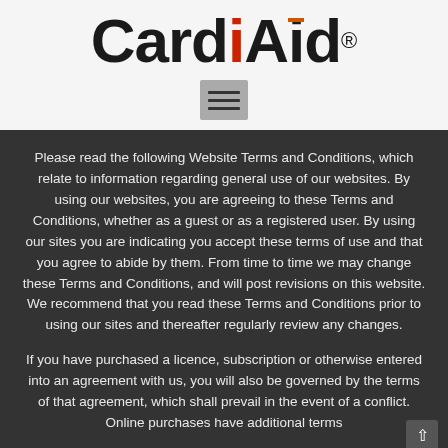[Figure (logo): CardiAid logo with red heart dot over the i, orange bar on the d, and registered trademark symbol]
[Figure (other): Hamburger menu button with three horizontal bars on a grey background]
Please read the following Website Terms and Conditions, which relate to information regarding general use of our websites. By using our websites, you are agreeing to these Terms and Conditions, whether as a guest or as a registered user. By using our sites you are indicating you accept these terms of use and that you agree to abide by them. From time to time we may change these Terms and Conditions, and will post revisions on this website. We recommend that you read these Terms and Conditions prior to using our sites and thereafter regularly review any changes.
If you have purchased a licence, subscription or otherwise entered into an agreement with us, you will also be governed by the terms of that agreement, which shall prevail in the event of a conflict. Online purchases have additional terms